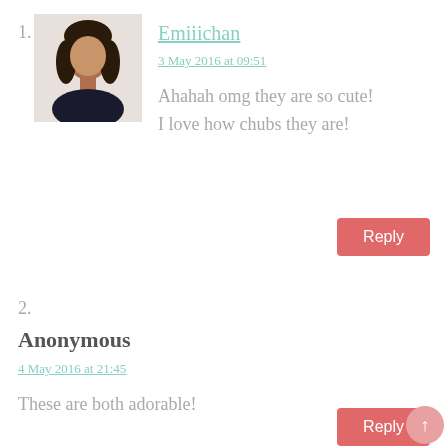[Figure (photo): Avatar photo of Emiiichan — a young woman with dark hair against a light background]
1.
Emiiichan
3 May 2016 at 09:51
Ahahah omg they are so cute! I love how chubs they are!
Reply
2.
Anonymous
4 May 2016 at 21:45
These are both adorable!
Reply
↑